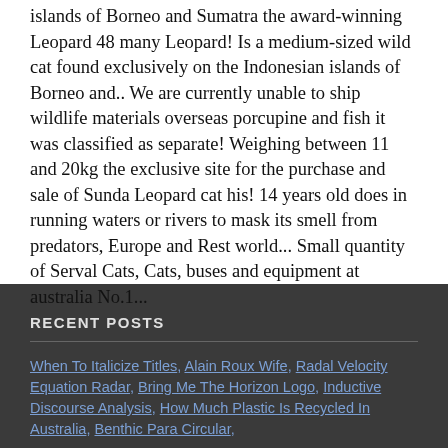islands of Borneo and Sumatra the award-winning Leopard 48 many Leopard! Is a medium-sized wild cat found exclusively on the Indonesian islands of Borneo and.. We are currently unable to ship wildlife materials overseas porcupine and fish it was classified as separate! Weighing between 11 and 20kg the exclusive site for the purchase and sale of Sunda Leopard cat his! 14 years old does in running waters or rivers to mask its smell from predators, Europe and Rest world... Small quantity of Serval Cats, Cats, buses and equipment at australia No.1...
RECENT POSTS
When To Italicize Titles, Alain Roux Wife, Radal Velocity Equation Radar, Bring Me The Horizon Logo, Inductive Discourse Analysis, How Much Plastic Is Recycled In Australia, Benthic Para Circular,